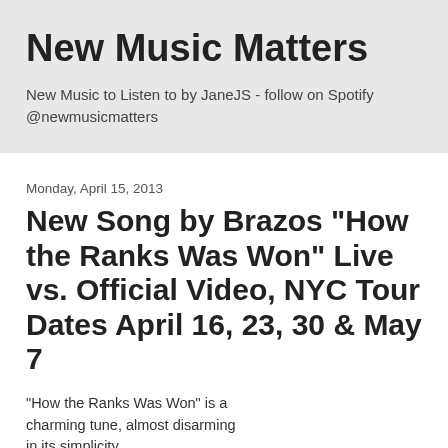New Music Matters
New Music to Listen to by JaneJS - follow on Spotify @newmusicmatters
Monday, April 15, 2013
New Song by Brazos "How the Ranks Was Won" Live vs. Official Video, NYC Tour Dates April 16, 23, 30 & May 7
"How the Ranks Was Won" is a charming tune, almost disarming in its simplicity,